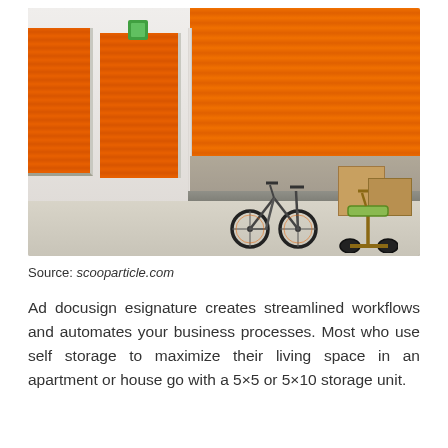[Figure (photo): Interior of a self-storage facility showing a corridor with orange roll-up storage unit doors on both sides. One unit is open revealing bicycles and boxes stored inside. The floor is polished concrete.]
Source: scooparticle.com
Ad docusign esignature creates streamlined workflows and automates your business processes. Most who use self storage to maximize their living space in an apartment or house go with a 5×5 or 5×10 storage unit.